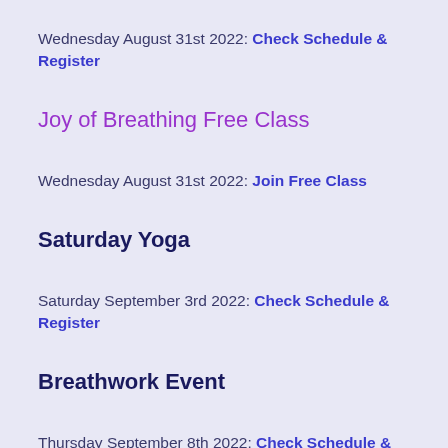Wednesday August 31st 2022: Check Schedule & Register
Joy of Breathing Free Class
Wednesday August 31st 2022: Join Free Class
Saturday Yoga
Saturday September 3rd 2022: Check Schedule & Register
Breathwork Event
Thursday September 8th 2022: Check Schedule &